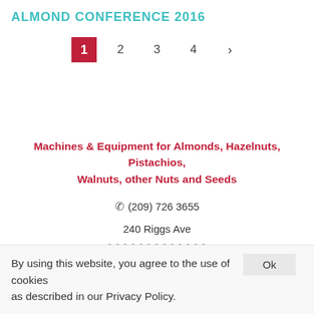ALMOND CONFERENCE 2016
[Figure (other): Pagination control showing pages 1 (active/selected, red background), 2, 3, 4, and a right arrow button]
Machines & Equipment for Almonds, Hazelnuts, Pistachios, Walnuts, other Nuts and Seeds
(209) 726 3655
240 Riggs Ave
By using this website, you agree to the use of cookies as described in our Privacy Policy.
Ok